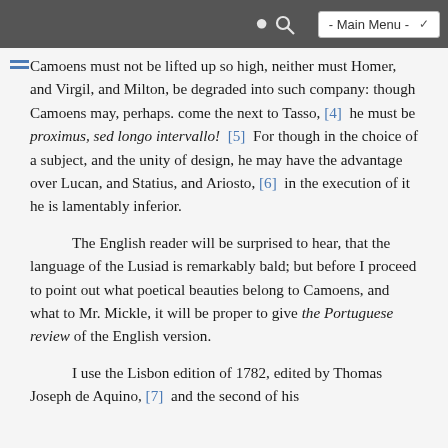- Main Menu -
equal with Homer, and Virgil, and Milton, be
Camoens must not be lifted up so high, neither must Homer, and Virgil, and Milton, be degraded into such company: though Camoens may, perhaps. come the next to Tasso, [4]  he must be proximus, sed longo intervallo!  [5]  For though in the choice of a subject, and the unity of design, he may have the advantage over Lucan, and Statius, and Ariosto, [6]  in the execution of it he is lamentably inferior.
The English reader will be surprised to hear, that the language of the Lusiad is remarkably bald; but before I proceed to point out what poetical beauties belong to Camoens, and what to Mr. Mickle, it will be proper to give the Portuguese review of the English version.
I use the Lisbon edition of 1782, edited by Thomas Joseph de Aquino, [7]  and the second of his